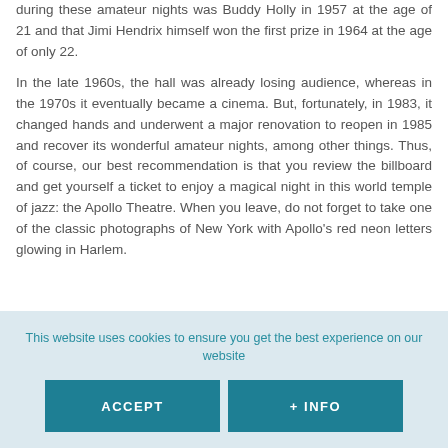during these amateur nights was Buddy Holly in 1957 at the age of 21 and that Jimi Hendrix himself won the first prize in 1964 at the age of only 22.
In the late 1960s, the hall was already losing audience, whereas in the 1970s it eventually became a cinema. But, fortunately, in 1983, it changed hands and underwent a major renovation to reopen in 1985 and recover its wonderful amateur nights, among other things. Thus, of course, our best recommendation is that you review the billboard and get yourself a ticket to enjoy a magical night in this world temple of jazz: the Apollo Theatre. When you leave, do not forget to take one of the classic photographs of New York with Apollo's red neon letters glowing in Harlem.
This website uses cookies to ensure you get the best experience on our website
ACCEPT
+ INFO